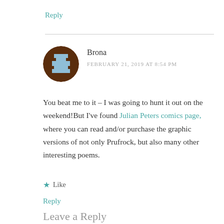Reply
[Figure (illustration): Round avatar with brown background and pixelated chess piece icon]
Brona
FEBRUARY 21, 2019 AT 8:54 PM
You beat me to it – I was going to hunt it out on the weekend!But I've found Julian Peters comics page, where you can read and/or purchase the graphic versions of not only Prufrock, but also many other interesting poems.
Like
Reply
Leave a Reply